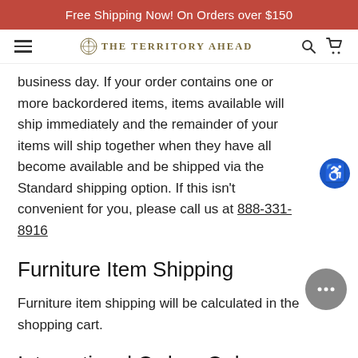Free Shipping Now! On Orders over $150
[Figure (logo): The Territory Ahead logo with compass rose icon and navigation icons (hamburger menu, search, cart)]
business day. If your order contains one or more backordered items, items available will ship immediately and the remainder of your items will ship together when they have all become available and be shipped via the Standard shipping option. If this isn't convenient for you, please call us at 888-331-8916
Furniture Item Shipping
Furniture item shipping will be calculated in the shopping cart.
International Orders Only